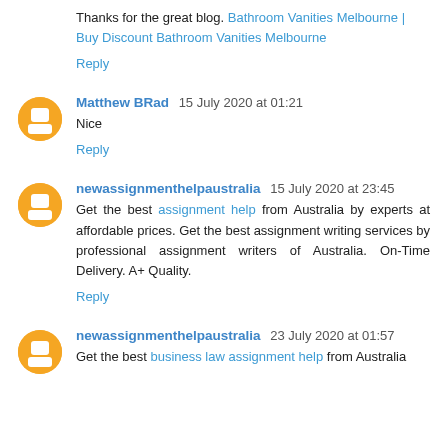Thanks for the great blog. Bathroom Vanities Melbourne | Buy Discount Bathroom Vanities Melbourne
Reply
Matthew BRad  15 July 2020 at 01:21
Nice
Reply
newassignmenthelpaustralia  15 July 2020 at 23:45
Get the best assignment help from Australia by experts at affordable prices. Get the best assignment writing services by professional assignment writers of Australia. On-Time Delivery. A+ Quality.
Reply
newassignmenthelpaustralia  23 July 2020 at 01:57
Get the best business law assignment help from Australia